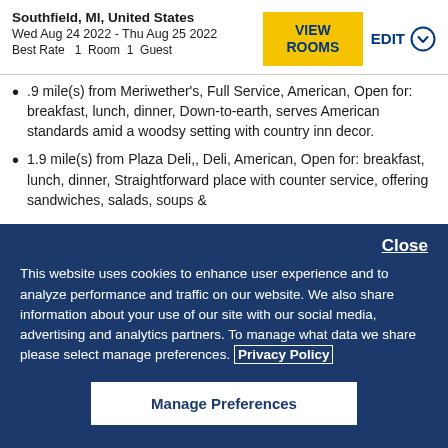Southfield, MI, United States
Wed Aug 24 2022 - Thu Aug 25 2022
Best Rate  1  Room  1  Guest
.9 mile(s) from Meriwether's, Full Service, American, Open for: breakfast, lunch, dinner, Down-to-earth, serves American standards amid a woodsy setting with country inn decor.
1.9 mile(s) from Plaza Deli,, Deli, American, Open for: breakfast, lunch, dinner, Straightforward place with counter service, offering sandwiches, salads, soups &
Close
This website uses cookies to enhance user experience and to analyze performance and traffic on our website. We also share information about your use of our site with our social media, advertising and analytics partners. To manage what data we share please select manage preferences. Privacy Policy
Manage Preferences